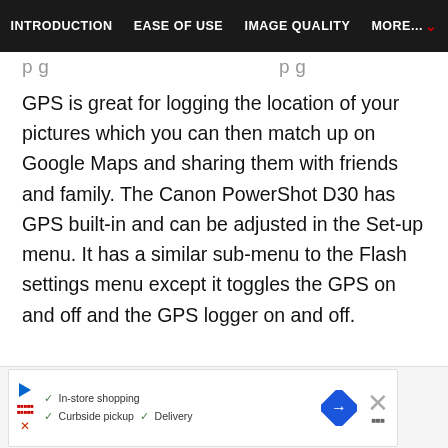INTRODUCTION | EASE OF USE | IMAGE QUALITY | MORE...
p g p g
GPS is great for logging the location of your pictures which you can then match up on Google Maps and sharing them with friends and family. The Canon PowerShot D30 has GPS built-in and can be adjusted in the Set-up menu. It has a similar sub-menu to the Flash settings menu except it toggles the GPS on and off and the GPS logger on and off.
[Figure (other): Advertisement banner showing In-store shopping, Curbside pickup, Delivery options with a play button, navigation arrow icon, and close button]